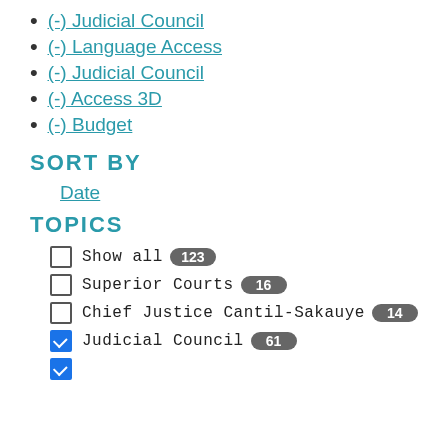(-) Judicial Council
(-) Language Access
(-) Judicial Council
(-) Access 3D
(-) Budget
SORT BY
Date
TOPICS
Show all 123
Superior Courts 16
Chief Justice Cantil-Sakauye 14
Judicial Council 61